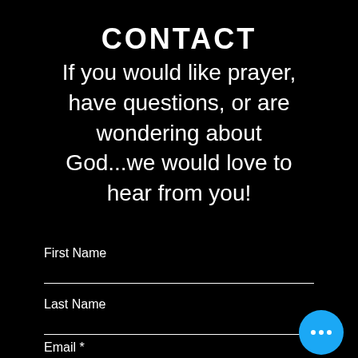CONTACT
If you would like prayer, have questions, or are wondering about God...we would love to hear from you!
First Name
Last Name
Email *